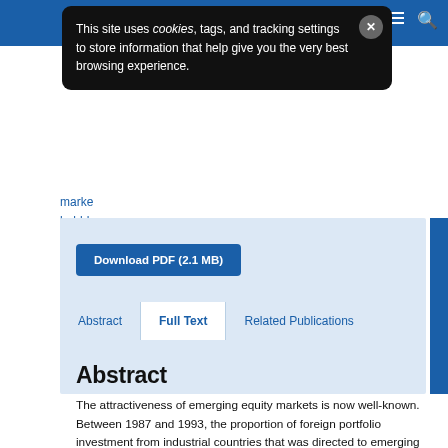Site header with navigation
[Figure (screenshot): Cookie consent banner overlay with dark background reading: 'This site uses cookies, tags, and tracking settings to store information that help give you the very best browsing experience.' with an X close button]
...market... bubbles (partial hyperlinked article title)
Download PDF (2.1 MB)
Abstract | Full Text | Related Publications (tab navigation)
Abstract
The attractiveness of emerging equity markets is now well-known. Between 1987 and 1993, the proportion of foreign portfolio investment from industrial countries that was directed to emerging markets rose from 0.5 percent to 16 percent (Folkerts-Landau and Ito (1995)). Growth in emerging equity markets has